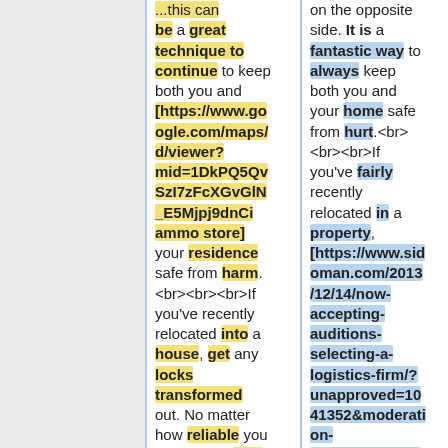...this can be a great technique to continue to keep both you and [https://www.google.com/maps/d/viewer?mid=1DkPQ5QvSzI7zFcXGvGlN_E5Mjpj9dnCi ammo store] your residence safe from harm.<br><br><br>If you've recently relocated into a house, get any locks transformed out. No matter how reliable you think of the final proprietors to...
...on the opposite side. It is a fantastic way to always keep both you and your home safe from hurt.<br><br>If you've fairly recently relocated in a property, [https://www.sidoman.com/2013/12/14/now-accepting-auditions-selecting-a-logistics-firm/?unapproved=1041352&moderation-hash=3a67e5ed1ddf07059e76f...